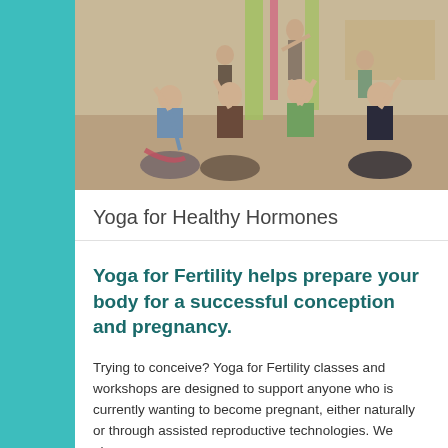[Figure (photo): Group of women doing yoga poses in a studio, several sitting on the floor with arms raised overhead in a stretch]
Yoga for Healthy Hormones
Yoga for Fertility helps prepare your body for a successful conception and pregnancy.
Trying to conceive? Yoga for Fertility classes and workshops are designed to support anyone who is currently wanting to become pregnant, either naturally or through assisted reproductive technologies. We also...